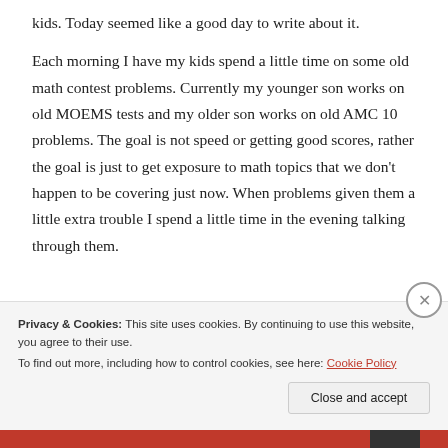kids. Today seemed like a good day to write about it.
Each morning I have my kids spend a little time on some old math contest problems. Currently my younger son works on old MOEMS tests and my older son works on old AMC 10 problems. The goal is not speed or getting good scores, rather the goal is just to get exposure to math topics that we don't happen to be covering just now. When problems given them a little extra trouble I spend a little time in the evening talking through them.
Privacy & Cookies: This site uses cookies. By continuing to use this website, you agree to their use.
To find out more, including how to control cookies, see here: Cookie Policy